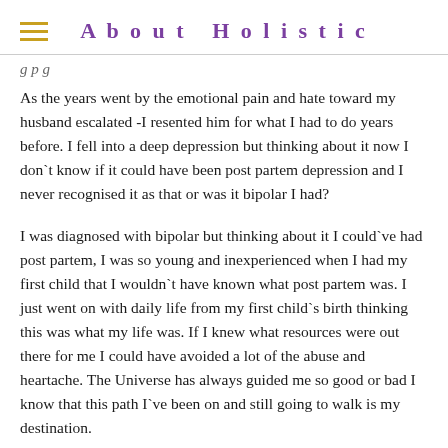About Holistic
As the years went by the emotional pain and hate toward my husband escalated -I resented him for what I had to do years before. I fell into a deep depression but thinking about it now I don`t know if it could have been post partem depression and I never recognised it as that or was it bipolar I had?
I was diagnosed with bipolar but thinking about it I could`ve had post partem, I was so young and inexperienced when I had my first child that I wouldn`t have known what post partem was. I just went on with daily life from my first child`s birth thinking this was what my life was. If I knew what resources were out there for me I could have avoided a lot of the abuse and heartache. The Universe has always guided me so good or bad I know that this path I`ve been on and still going to walk is my destination.
Thank you for reading my thought. My wish is that I reach at least